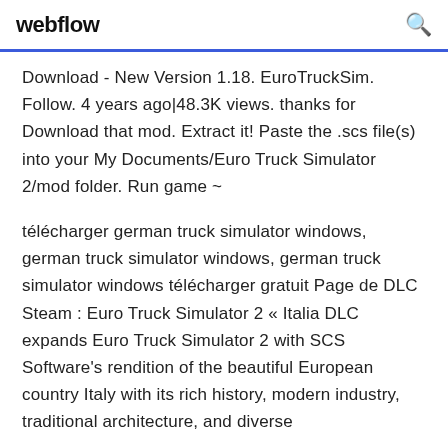webflow
Download - New Version 1.18. EuroTruckSim. Follow. 4 years ago|48.3K views. thanks for Download that mod. Extract it! Paste the .scs file(s) into your My Documents/Euro Truck Simulator 2/mod folder. Run game ~
télécharger german truck simulator windows, german truck simulator windows, german truck simulator windows télécharger gratuit Page de DLC Steam : Euro Truck Simulator 2 « Italia DLC expands Euro Truck Simulator 2 with SCS Software's rendition of the beautiful European country Italy with its rich history, modern industry, traditional architecture, and diverse